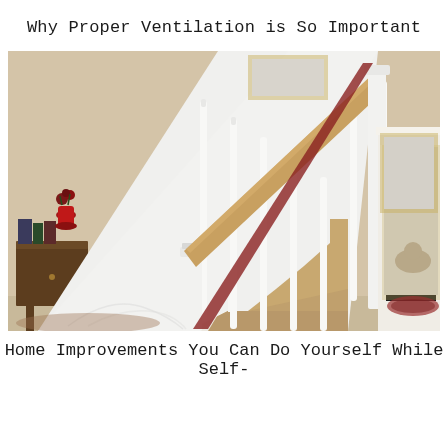Why Proper Ventilation is So Important
[Figure (photo): Interior photo of a classic home staircase with white painted balusters, wooden oak handrail, carpeted steps, and a fireplace visible in the background. A red vase and books sit on a dark wood side table to the left.]
Home Improvements You Can Do Yourself While Self-